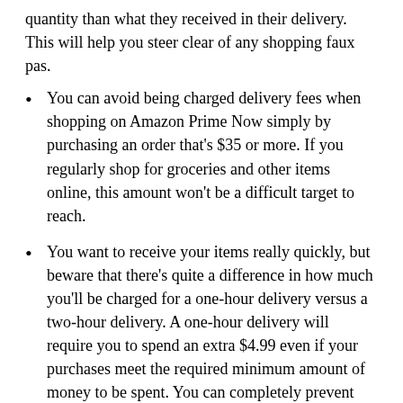quantity than what they received in their delivery. This will help you steer clear of any shopping faux pas.
You can avoid being charged delivery fees when shopping on Amazon Prime Now simply by purchasing an order that’s $35 or more. If you regularly shop for groceries and other items online, this amount won’t be a difficult target to reach.
You want to receive your items really quickly, but beware that there’s quite a difference in how much you’ll be charged for a one-hour delivery versus a two-hour delivery. A one-hour delivery will require you to spend an extra $4.99 even if your purchases meet the required minimum amount of money to be spent. You can completely prevent having to pay this by choosing to get your delivery within two hours of your purchase. So, if you don’t need your delivery very urgently, consider the two-